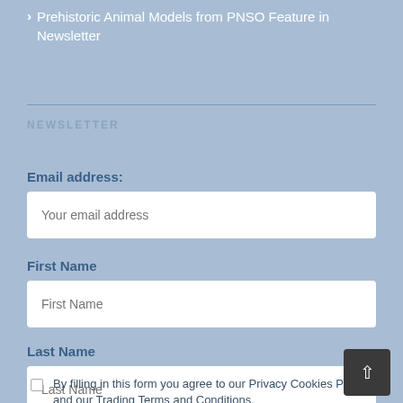Prehistoric Animal Models from PNSO Feature in Newsletter
NEWSLETTER
Email address:
First Name
Last Name
By filling in this form you agree to our Privacy Cookies Policy and our Trading Terms and Conditions.